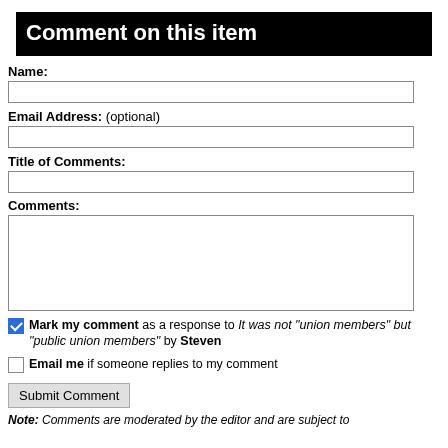Comment on this item
Name:
Email Address: (optional)
Title of Comments:
Comments:
Mark my comment as a response to It was not "union members" but "public union members" by Steven
Email me if someone replies to my comment
Submit Comment
Note: Comments are moderated by the editor and are subject to